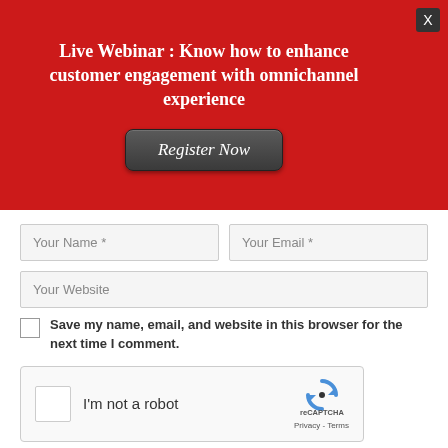Live Webinar : Know how to enhance customer engagement with omnichannel experience
Register Now
Your Name *
Your Email *
Your Website
Save my name, email, and website in this browser for the next time I comment.
[Figure (other): reCAPTCHA widget with checkbox labeled 'I'm not a robot' and reCAPTCHA logo with Privacy and Terms links]
POST COMMENT